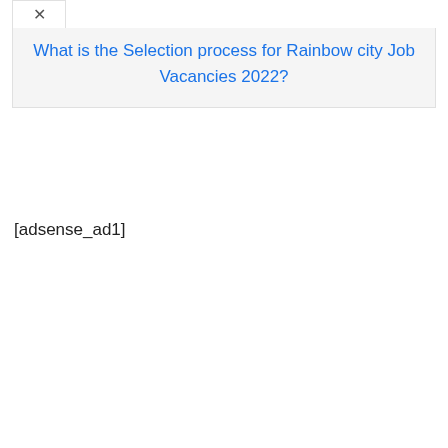What is the Selection process for Rainbow city Job Vacancies 2022?
[adsense_ad1]